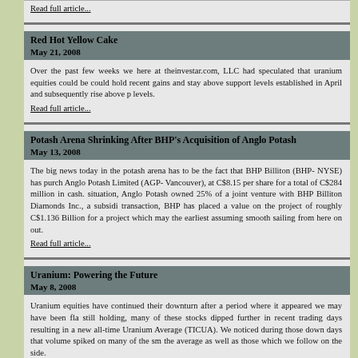Read full article...
Red Hot Yellow Cake
May 21, 2008
Over the past few weeks we here at theinvestar.com, LLC had speculated that uranium equities could be could hold recent gains and stay above support levels established in April and subsequently rise above p levels.
Read full article...
Potash Arena Shrinking After BHP's Acquisition of Anglo Potash
May 13, 2008
The big news today in the potash arena has to be the fact that BHP Billiton (BHP- NYSE) has purch Anglo Potash Limited (AGP- Vancouver), at C$8.15 per share for a total of C$284 million in cash. situation, Anglo Potash owned 25% of a joint venture with BHP Billiton Diamonds Inc., a subsidi transaction, BHP has placed a value on the project of roughly C$1.136 Billion for a project which may the earliest assuming smooth sailing from here on out.
Read full article...
Uranium: Powering the Future
May 8, 2008
Uranium equities have continued their downturn after a period where it appeared we may have been fla still holding, many of these stocks dipped further in recent trading days resulting in a new all-time Uranium Average (TICUA). We noticed during those down days that volume spiked on many of the sm the average as well as those which we follow on the side.
Read full article...
Go to the Archives page for more articles
© theinvestar.com, LLC - read disclaimer
site design by Dailey Technologies, LLC